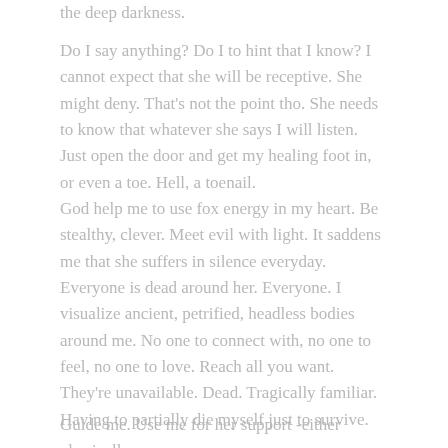the deep darkness.
Do I say anything? Do I to hint that I know? I cannot expect that she will be receptive. She might deny. That’s not the point tho. She needs to know that whatever she says I will listen. Just open the door and get my healing foot in, or even a toe. Hell, a toenail.
God help me to use fox energy in my heart. Be stealthy, clever. Meet evil with light. It saddens me that she suffers in silence everyday. Everyone is dead around her. Everyone. I visualize ancient, petrified, headless bodies around me. No one to connect with, no one to feel, no one to love. Reach all you want. They’re unavailable. Dead. Tragically familiar. Having to partially die myself just to survive.
Guide me. Use me for her support –either physically or